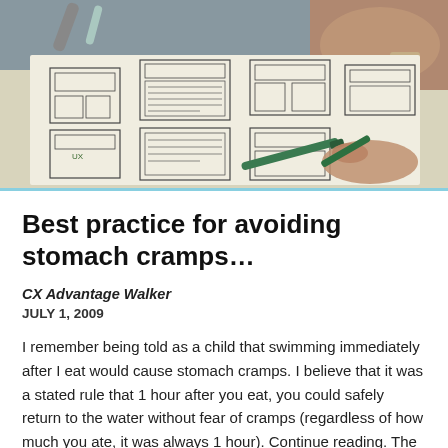[Figure (photo): Overhead photo of hands working on a paper wireframe/UX sketch layout on a table, with markers/pens visible]
Best practice for avoiding stomach cramps…
CX Advantage Walker
JULY 1, 2009
I remember being told as a child that swimming immediately after I eat would cause stomach cramps. I believe that it was a stated rule that 1 hour after you eat, you could safely return to the water without fear of cramps (regardless of how much you ate, it was always 1 hour). Continue reading. The post Best practice for avoiding stomach cramps… appeared first on CX Advantage. Customer Retention Programs Customer